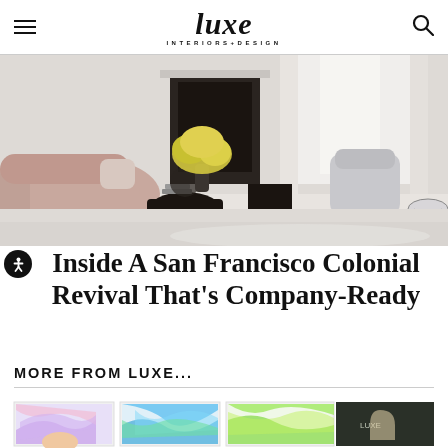luxe INTERIORS+DESIGN
[Figure (photo): Interior photo of a San Francisco Colonial Revival living room with curved blush pink sofa, black cylindrical side tables, yellow flower arrangement, fireplace, and gray accent chairs with ottomans]
Inside A San Francisco Colonial Revival That’s Company-Ready
MORE FROM LUXE...
[Figure (photo): Bottom strip showing colorful abstract artworks with a person partially visible, displayed as framed pieces]